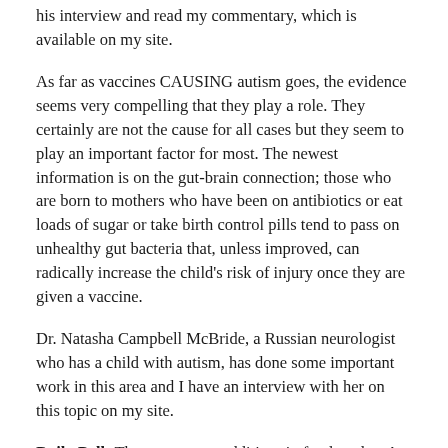his interview and read my commentary, which is available on my site.
As far as vaccines CAUSING autism goes, the evidence seems very compelling that they play a role. They certainly are not the cause for all cases but they seem to play an important factor for most. The newest information is on the gut-brain connection; those who are born to mothers who have been on antibiotics or eat loads of sugar or take birth control pills tend to pass on unhealthy gut bacteria that, unless improved, can radically increase the child's risk of injury once they are given a vaccine.
Dr. Natasha Campbell McBride, a Russian neurologist who has a child with autism, has done some important work in this area and I have an interview with her on this topic on my site.
Daily Bell: There are many additives in foods today. Are they causing cancer, diabetes, etc.? If so, why isn't this better known?
Dr. Mercola: There are many food additives with known links to